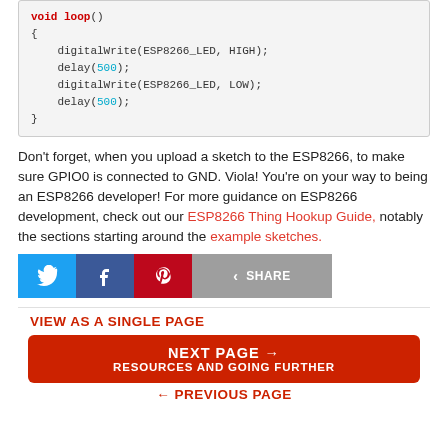void loop()
{
    digitalWrite(ESP8266_LED, HIGH);
    delay(500);
    digitalWrite(ESP8266_LED, LOW);
    delay(500);
}
Don't forget, when you upload a sketch to the ESP8266, to make sure GPIO0 is connected to GND. Viola! You're on your way to being an ESP8266 developer! For more guidance on ESP8266 development, check out our ESP8266 Thing Hookup Guide, notably the sections starting around the example sketches.
[Figure (infographic): Social sharing buttons: Twitter (blue), Facebook (dark blue), Pinterest (red), Share (grey)]
VIEW AS A SINGLE PAGE
NEXT PAGE →
RESOURCES AND GOING FURTHER
← PREVIOUS PAGE